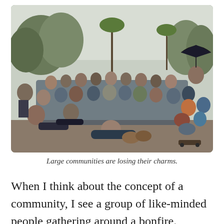[Figure (photo): A large group of people gathered together outdoors in a park or garden setting, posing for a photo. Many are smiling and making gestures. Trees and palms are visible in the background. One person in the upper right holds an open umbrella. Several people in the foreground are lying on the ground.]
Large communities are losing their charms.
When I think about the concept of a community, I see a group of like-minded people gathering around a bonfire. They're talking about their meanings in life and